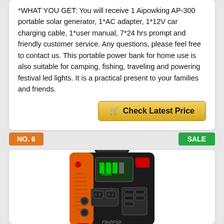*WHAT YOU GET: You will receive 1 Aipowking AP-300 portable solar generator, 1*AC adapter, 1*12V car charging cable, 1*user manual, 7*24 hrs prompt and friendly customer service. Any questions, please feel free to contact us. This portable power bank for home use is also suitable for camping, fishing, traveling and powering festival led lights. It is a practical present to your families and friends.
[Figure (other): Button labeled 'Check Latest Price' with shopping cart icon, gold/yellow gradient background]
NO. 6
SALE
[Figure (photo): FlashFish portable power station/solar generator with black and orange casing, handle on top, LCD display, AC outlets, USB ports, and red power button]